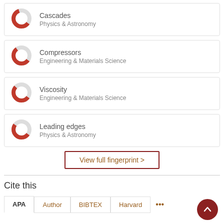Cascades — Physics & Astronomy
Compressors — Engineering & Materials Science
Viscosity — Engineering & Materials Science
Leading edges — Physics & Astronomy
View full fingerprint >
Cite this
APA | Author | BIBTEX | Harvard | ...